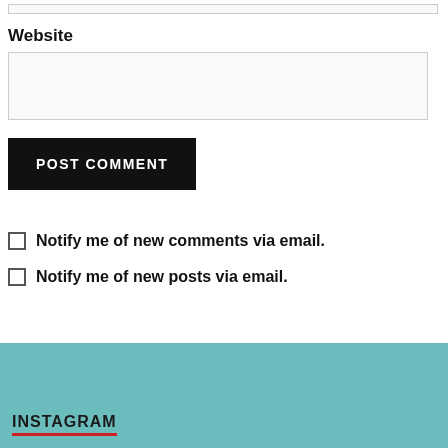Website
POST COMMENT
Notify me of new comments via email.
Notify me of new posts via email.
INSTAGRAM